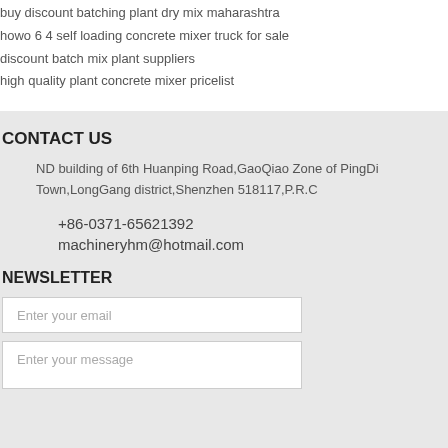buy discount batching plant dry mix maharashtra
howo 6 4 self loading concrete mixer truck for sale
discount batch mix plant suppliers
high quality plant concrete mixer pricelist
CONTACT US
ND building of 6th Huanping Road,GaoQiao Zone of PingDi Town,LongGang district,Shenzhen 518117,P.R.C
+86-0371-65621392
machineryhm@hotmail.com
NEWSLETTER
Enter your email
Enter your message